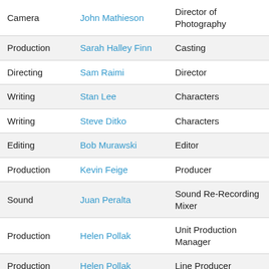| Department | Name | Role |
| --- | --- | --- |
| Camera | John Mathieson | Director of Photography |
| Production | Sarah Halley Finn | Casting |
| Directing | Sam Raimi | Director |
| Writing | Stan Lee | Characters |
| Writing | Steve Ditko | Characters |
| Editing | Bob Murawski | Editor |
| Production | Kevin Feige | Producer |
| Sound | Juan Peralta | Sound Re-Recording Mixer |
| Production | Helen Pollak | Unit Production Manager |
| Production | Helen Pollak | Line Producer |
| Art | Julian Ashby | Art Direction |